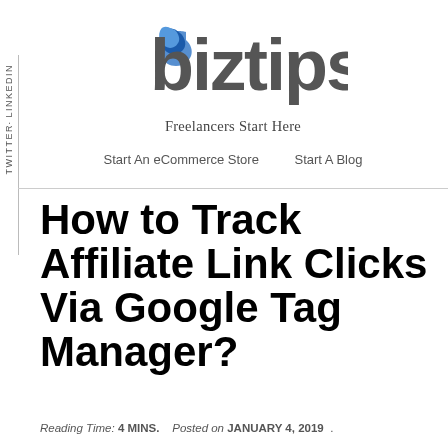biztips – Freelancers Start Here
Start An eCommerce Store    Start A Blog
How to Track Affiliate Link Clicks Via Google Tag Manager?
Reading Time: 4 MINS.  Posted on JANUARY 4, 2019 .